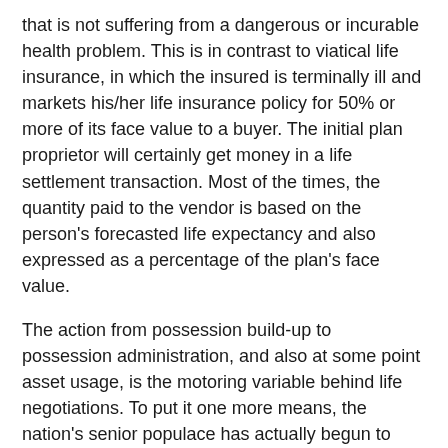that is not suffering from a dangerous or incurable health problem. This is in contrast to viatical life insurance, in which the insured is terminally ill and markets his/her life insurance policy for 50% or more of its face value to a buyer. The initial plan proprietor will certainly get money in a life settlement transaction. Most of the times, the quantity paid to the vendor is based on the person's forecasted life expectancy and also expressed as a percentage of the plan's face value.
The action from possession build-up to possession administration, and also at some point asset usage, is the motoring variable behind life negotiations. To put it one more means, the nation's senior populace has actually begun to require more traditional planning techniques, which has spurred a lot of rate of interest in life negotiations as a way to extract value from an inactive possession.
Individuals take on life negotiations for a selection of factors.